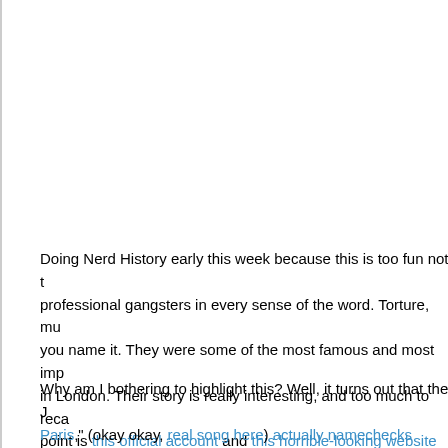Doing Nerd History early this week because this is too fun not t… professional gangsters in every sense of the word. Torture, mu… you name it. They were some of the most famous and most imp… in London. Their story is really interesting, and too much to reca… point is this official account and this horrible-looking website wi… crime and crime bosses, this is something, especially if you're d… you might not know.
Why am I bothering to highlight this? Well, it turns out that the J… Paris," (okay okay, real song here) actually namechecks these… (poop) Kray" is not a goofy Kanye-esque shortening of "crazy" a… these Twins who went into hiding. Go figure, right?